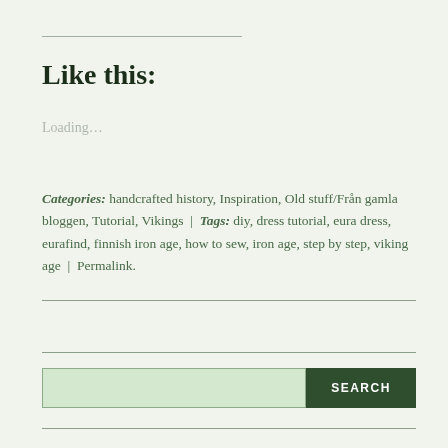Like this:
Loading…
Categories: handcrafted history, Inspiration, Old stuff/Från gamla bloggen, Tutorial, Vikings | Tags: diy, dress tutorial, eura dress, eurafind, finnish iron age, how to sew, iron age, step by step, viking age | Permalink.